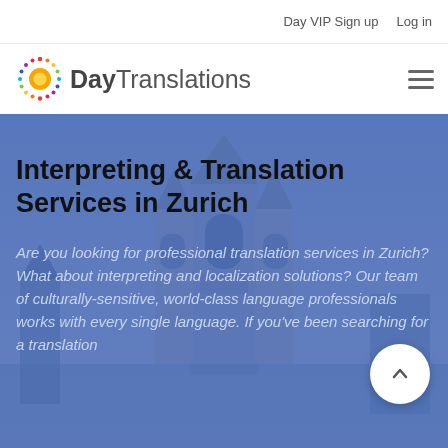Day VIP Sign up   Log in
[Figure (logo): Day Translations logo: sun/globe icon with colorful dots around a yellow circle, followed by text 'Day Translations' in gray sans-serif]
Interpreting & Translation Services in Zurich
Are you looking for professional translation services in Zurich? What about interpreting and localization solutions? Our team of culturally-sensitive, world-class language professionals works with every single language. If you've been searching for a translation